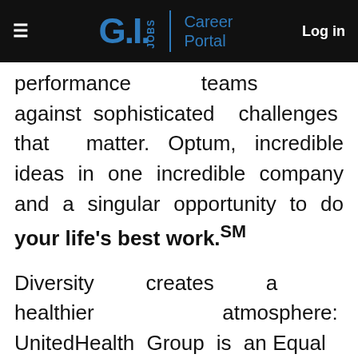G.I. JOBS | Career Portal   Log in
performance teams against sophisticated challenges that matter. Optum, incredible ideas in one incredible company and a singular opportunity to do your life's best work.SM
Diversity creates a healthier atmosphere: UnitedHealth Group is an Equal Employment Opportunity / Affirmative Action employer and all qualified applicants will receive consideration for employment without regard to race, color, religion, sex, age, national origin, protected veteran status